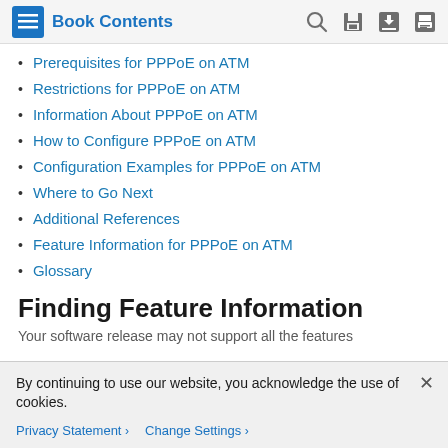Book Contents
Prerequisites for PPPoE on ATM
Restrictions for PPPoE on ATM
Information About PPPoE on ATM
How to Configure PPPoE on ATM
Configuration Examples for PPPoE on ATM
Where to Go Next
Additional References
Feature Information for PPPoE on ATM
Glossary
Finding Feature Information
Your software release may not support all the features
By continuing to use our website, you acknowledge the use of cookies.
Privacy Statement > Change Settings >